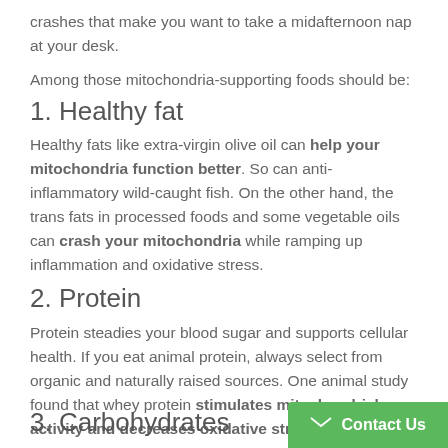crashes that make you want to take a midafternoon nap at your desk.
Among those mitochondria-supporting foods should be:
1. Healthy fat
Healthy fats like extra-virgin olive oil can help your mitochondria function better. So can anti-inflammatory wild-caught fish. On the other hand, the trans fats in processed foods and some vegetable oils can crash your mitochondria while ramping up inflammation and oxidative stress.
2. Protein
Protein steadies your blood sugar and supports cellular health. If you eat animal protein, always select from organic and naturally raised sources. One animal study found that whey protein stimulates mitochondrial activity and decreases oxidative stress.
3. Carbohydrates